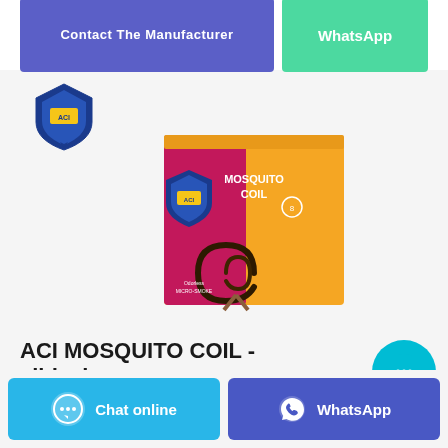Contact The Manufacturer
WhatsApp
[Figure (logo): ACI brand shield logo in blue and yellow]
[Figure (photo): ACI Mosquito Coil product box - orange and magenta colored packaging with mosquito coil image]
ACI MOSQUITO COIL - slideshare
[Figure (other): Circular chat bubble button in cyan/teal color with ellipsis icon]
Chat online
WhatsApp